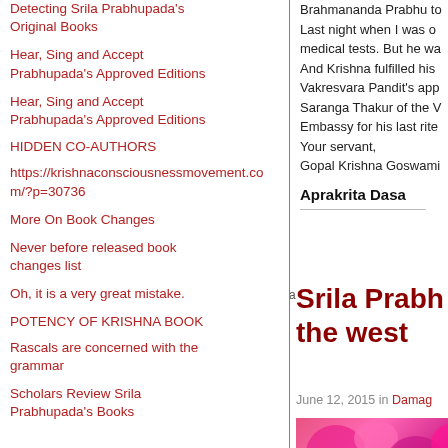Detecting Srila Prabhupada's Original Books
Hear, Sing and Accept Prabhupada's Approved Editions
Hear, Sing and Accept Prabhupada's Approved Editions
HIDDEN CO-AUTHORS
https://krishnaconsciousnessmovement.com/?p=30736
More On Book Changes
Never before released book changes list
Oh, it is a very great mistake.
POTENCY OF KRISHNA BOOK
Rascals are concerned with the grammar
Scholars Review Srila Prabhupada's Books
Brahmananda Prabhu to Last night when I was on medical tests. But he wa And Krishna fulfilled his Vakresvara Pandit's app Saranga Thakur of the V Embassy for his last rite Your servant, Gopal Krishna Goswami
Aprakrita Dasa
by Yasodanandana Dasa
Srila Prabh the west
June 12, 2015 in Damag